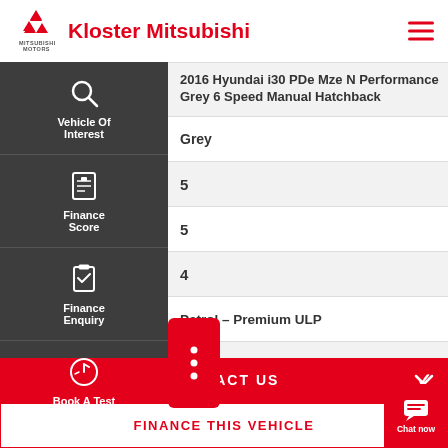Kloster Mitsubishi
| Label | Value |
| --- | --- |
| Vehicle | 2016 Hyundai i30 PDe Mze N Performance Grey 6 Speed Manual Hatchback |
| Colour | Grey |
|  | 5 |
|  | 5 |
| rs | 4 |
| pe | Petrol – Premium ULP |
|  | 2 |
| Gears | 6 Speed |
CONTACT US
FINANCE THIS VEHICLE